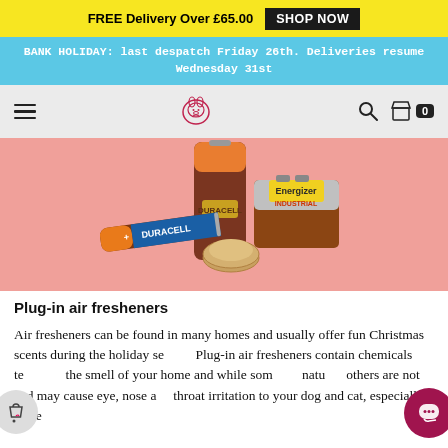FREE Delivery Over £65.00  SHOP NOW
BANK HOLIDAY: last despatch Friday 26th. Deliveries resume Wednesday 31st
[Figure (photo): Navigation bar with hamburger menu, dog logo, search icon and cart icon with 0 badge on grey background]
[Figure (photo): Photo of batteries on pink background: Duracell AA battery, large Duracell cylindrical battery, Energizer Industrial 9V battery, and coin/button batteries]
Plug-in air fresheners
Air fresheners can be found in many homes and usually offer fun Christmas scents during the holiday season. Plug-in air fresheners contain chemicals to enhance the smell of your home and while some are natural, others are not and may cause eye, nose and throat irritation to your dog and cat, especially since